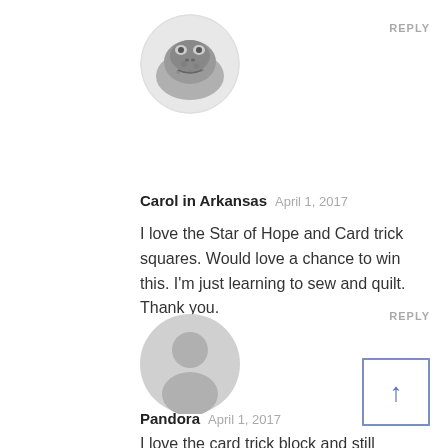[Figure (photo): Circular avatar image of a toad/frog, grayscale pencil drawing style]
REPLY
Carol in Arkansas   April 1, 2017
I love the Star of Hope and Card trick squares. Would love a chance to win this. I'm just learning to sew and quilt. Thank you.
[Figure (illustration): Circular default user avatar placeholder in light gray]
REPLY
[Figure (other): Scroll to top button — square box with upward arrow in blue/purple]
Pandora   April 1, 2017
I love the card trick block and still haven't